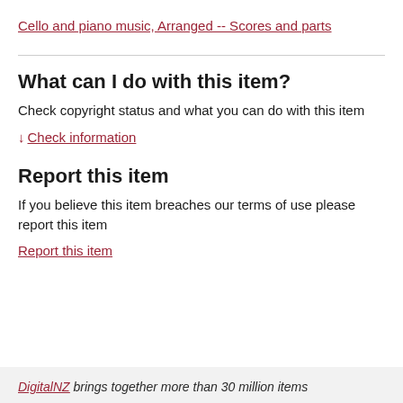Cello and piano music, Arranged -- Scores and parts
What can I do with this item?
Check copyright status and what you can do with this item
↓ Check information
Report this item
If you believe this item breaches our terms of use please report this item
Report this item
DigitalNZ brings together more than 30 million items